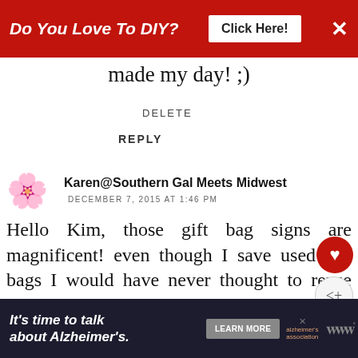[Figure (other): Red advertisement banner at top: 'Do You Love To DIY? Click Here!' with close X button]
made my day! ;)
DELETE
REPLY
Karen@Southern Gal Meets Midwest
DECEMBER 7, 2015 AT 1:46 PM
Hello Kim, those gift bag signs are magnificent! even though I save used gift bags I would have never thought to reuse them in this way! Thanks for sharing and inspiring. Have a great week!
[Figure (other): Bottom advertisement banner: It's time to talk about Alzheimer's. Learn More button. Alzheimer's Association logo.]